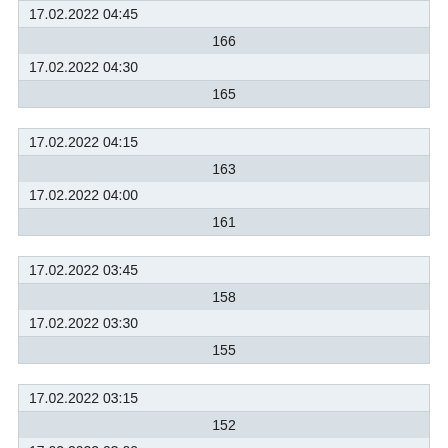| 17.02.2022 04:45 | 166 |
| 17.02.2022 04:30 | 165 |
| 17.02.2022 04:15 | 163 |
| 17.02.2022 04:00 | 161 |
| 17.02.2022 03:45 | 158 |
| 17.02.2022 03:30 | 155 |
| 17.02.2022 03:15 | 152 |
| 17.02.2022 03:00 | 147 |